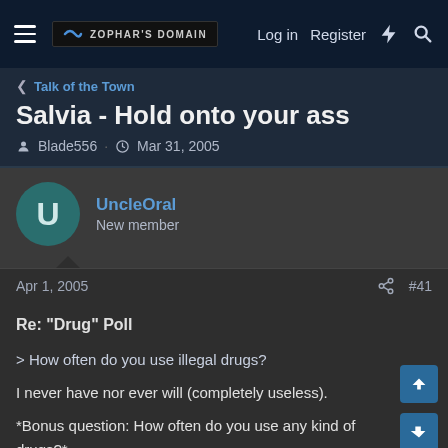Zophar's Domain | Log in | Register
Talk of the Town
Salvia - Hold onto your ass
Blade556 · Mar 31, 2005
UncleOral
New member
Apr 1, 2005
#41
Re: "Drug" Poll
> How often do you use illegal drugs?

I never have nor ever will (completely useless).

*Bonus question: How often do you use any kind of drugs?*

Hardly ever. I used to refuse taking even your most harmless